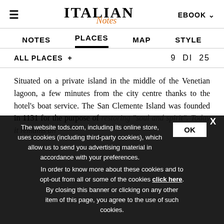ITALIAN Notes — EBOOK
NOTES   PLACES   MAP   STYLE
ALL PLACES +   9 DI 25
Situated on a private island in the middle of the Venetian lagoon, a few minutes from the city centre thanks to the hotel's boat service. The San Clemente Island was founded in 1131 for the purpose of restoring "soul and spirit". Today it remains an ... hectares of ... and ...
The website tods.com, including its online store, uses cookies (including third-party cookies), which allow us to send you advertising material in accordance with your preferences. In order to know more about these cookies and to opt-out from all or some of the cookies click here. By closing this banner or clicking on any other item of this page, you agree to the use of such cookies.